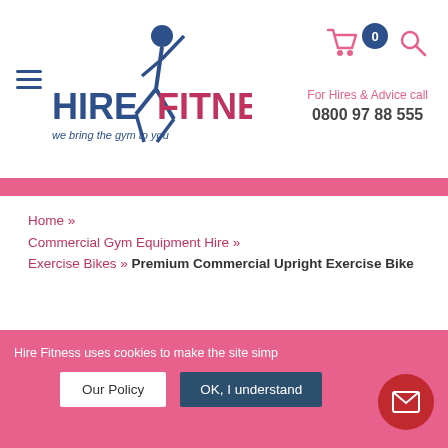[Figure (logo): Hire Fitness logo with running figure and text 'HIRE FITNESS - we bring the gym to you']
For Hires & Advice call
0800 97 88 555
Home » Commercial Gym Equipment Hire » Exercise Bikes » Premium Commercial Upright Exercise Bike
Hire Fitness uses cookies to make the site simp... Our Policy | OK, I understand